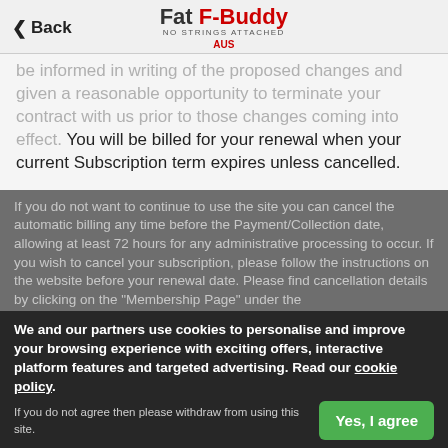Back | Fat F-Buddy NO STRINGS ATTACHED AUS
be informed in writing of the proposed changes and given a reasonable opportunity to terminate your contract with us prior to those changes coming into effect. You will be billed for your renewal when your current Subscription term expires unless cancelled.
We may from time to time run special offers or promotions. If you qualify for any special offer or promotion then the value of any special offer or promotion will be deducted from the cost of membership for the initial subscription period. Offer codes can only be used when paying online with a credit or debit card. When such offer or promotion expires, any subsequent automatic payments will be performed at the standard rate.
If you do not want to continue to use the site you can cancel the automatic billing any time before the Payment/Collection date, allowing at least 72 hours for any administrative processing to occur. If you wish to cancel your subscription, please follow the instructions on the website before your renewal date. Please find cancellation details by clicking on the "Membership Page" under the
We and our partners use cookies to personalise and improve your browsing experience with exciting offers, interactive platform features and targeted advertising. Read our cookie policy.
If you do not agree then please withdraw from using this site.